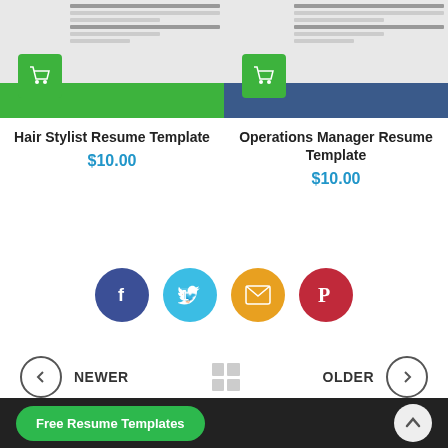[Figure (screenshot): Hair Stylist Resume Template product thumbnail with green cart button]
Hair Stylist Resume Template
$10.00
[Figure (screenshot): Operations Manager Resume Template product thumbnail with green cart button and blue bar]
Operations Manager Resume Template
$10.00
[Figure (infographic): Social sharing icons: Facebook (dark blue), Twitter (light blue), Email (orange), Pinterest (red)]
NEWER
OLDER
Free Resume Templates